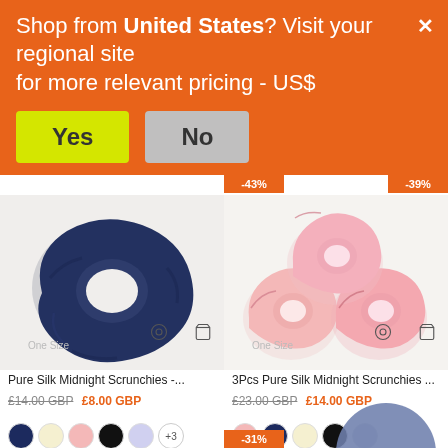Shop from United States? Visit your regional site for more relevant pricing - US$
Yes
No
[Figure (photo): Navy blue silk scrunchie hair tie, single piece]
[Figure (photo): Pink silk scrunchies set of 3]
One Size
One Size
Pure Silk Midnight Scrunchies -...
£14.00 GBP £8.00 GBP
3Pcs Pure Silk Midnight Scrunchies ...
£23.00 GBP £14.00 GBP
-31%